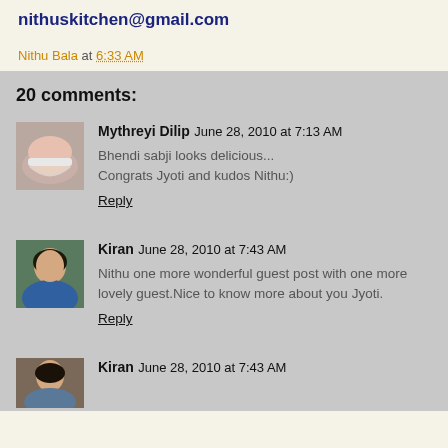nithuskitchen@gmail.com
Nithu Bala at 6:33 AM
20 comments:
Mythreyi Dilip June 28, 2010 at 7:13 AM
Bhendi sabji looks delicious...
Congrats Jyoti and kudos Nithu:)
Reply
Kiran June 28, 2010 at 7:43 AM
Nithu one more wonderful guest post with one more lovely guest.Nice to know more about you Jyoti.
Reply
Kiran June 28, 2010 at 7:43 AM